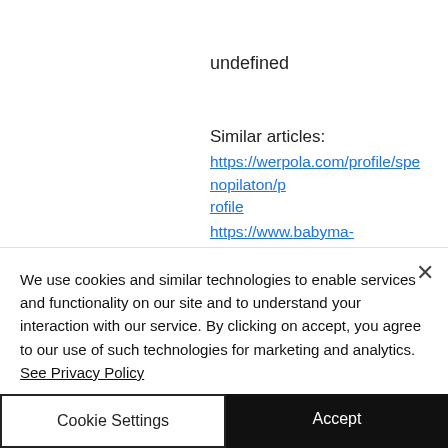undefined
Similar articles:
https://werpola.com/profile/spenopilaton/profile
https://www.babyma-amo.com/profile/nasonovaleksandr35989/profile
https://www.robopets.co.uk/profile/moskvitinakaterina42607/profile
https://www.nvscfss.org/profile/beschwitz
We use cookies and similar technologies to enable services and functionality on our site and to understand your interaction with our service. By clicking on accept, you agree to our use of such technologies for marketing and analytics. See Privacy Policy
Cookie Settings
Accept